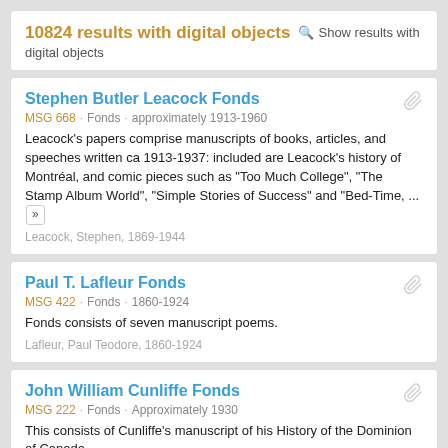10824 results with digital objects  Show results with digital objects
Stephen Butler Leacock Fonds
MSG 668 · Fonds · approximately 1913-1960
Leacock's papers comprise manuscripts of books, articles, and speeches written ca 1913-1937: included are Leacock's history of Montréal, and comic pieces such as "Too Much College", "The Stamp Album World", "Simple Stories of Success" and "Bed-Time, ... »
Leacock, Stephen, 1869-1944
Paul T. Lafleur Fonds
MSG 422 · Fonds · 1860-1924
Fonds consists of seven manuscript poems.
Lafleur, Paul Teodore, 1860-1924
John William Cunliffe Fonds
MSG 222 · Fonds · Approximately 1930
This consists of Cunliffe's manuscript of his History of the Dominion of Canada.